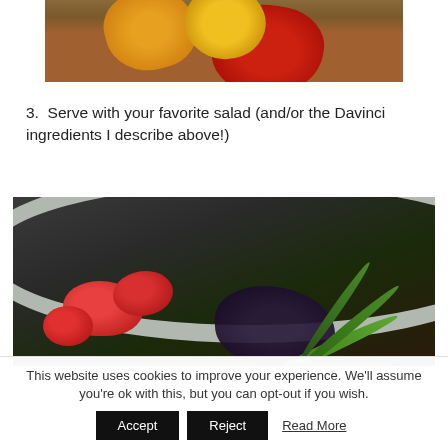[Figure (photo): Photo of colorful peppers (orange, yellow, red) on a dark surface, partially cropped at the top]
3.  Serve with your favorite salad (and/or the Davinci ingredients I describe above!)
[Figure (photo): Photo of a salad bowl with chopped tomatoes, leafy greens, dark purple basil or similar greens, in a stainless steel mixing bowl]
This website uses cookies to improve your experience. We'll assume you're ok with this, but you can opt-out if you wish.
Accept  Reject  Read More